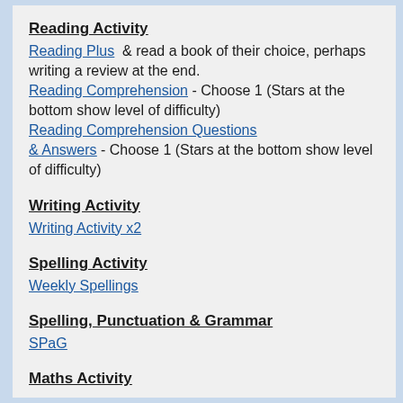Reading Activity
Reading Plus  & read a book of their choice, perhaps writing a review at the end.
Reading Comprehension - Choose 1 (Stars at the bottom show level of difficulty)
Reading Comprehension Questions & Answers - Choose 1 (Stars at the bottom show level of difficulty)
Writing Activity
Writing Activity x2
Spelling Activity
Weekly Spellings
Spelling, Punctuation & Grammar
SPaG
Maths Activity